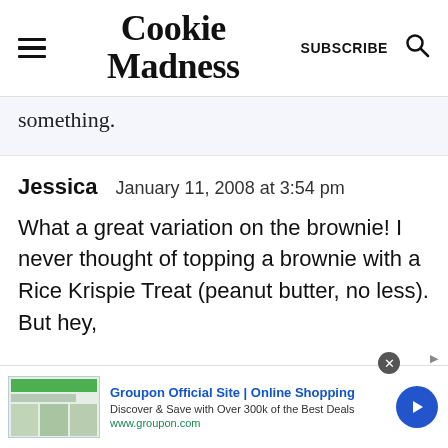Cookie Madness | SUBSCRIBE
something.
Jessica   January 11, 2008 at 3:54 pm

What a great variation on the brownie! I never thought of topping a brownie with a Rice Krispie Treat (peanut butter, no less). But hey,
[Figure (screenshot): Groupon advertisement banner: 'Groupon Official Site | Online Shopping — Discover & Save with Over 300k of the Best Deals — www.groupon.com' with a blue arrow button and close button.]